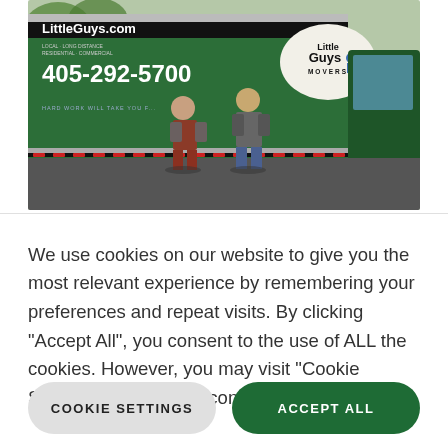[Figure (photo): Photo of a green Little Guys Movers moving truck with two people (movers) standing in front of it. The truck displays LittleGuys.com, phone number 405-292-5700, and the Little Guys Movers logo on the side.]
We use cookies on our website to give you the most relevant experience by remembering your preferences and repeat visits. By clicking "Accept All", you consent to the use of ALL the cookies. However, you may visit "Cookie Settings" to provide a controlled consent.
COOKIE SETTINGS
ACCEPT ALL